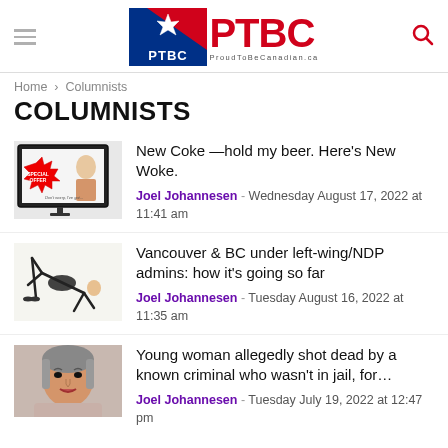PTBC ProudToBeCanadian.ca
Home › Columnists
COLUMNISTS
[Figure (screenshot): Thumbnail image of a TV monitor displaying a special offer advertisement with a woman]
New Coke —hold my beer. Here's New Woke.
Joel Johannesen - Wednesday August 17, 2022 at 11:41 am
[Figure (photo): Thumbnail image of a person in a yoga/exercise pose]
Vancouver & BC under left-wing/NDP admins: how it's going so far
Joel Johannesen - Tuesday August 16, 2022 at 11:35 am
[Figure (photo): Thumbnail photo of a young woman]
Young woman allegedly shot dead by a known criminal who wasn't in jail, for…
Joel Johannesen - Tuesday July 19, 2022 at 12:47 pm